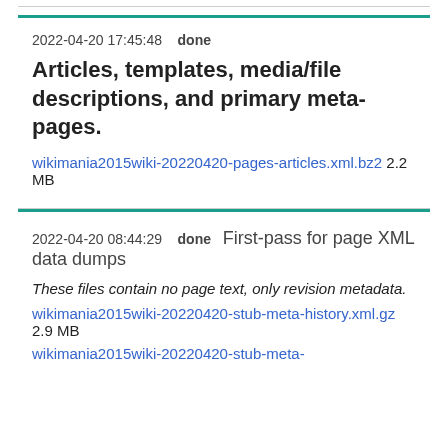2022-04-20 17:45:48   done   Articles, templates, media/file descriptions, and primary meta-pages.
wikimania2015wiki-20220420-pages-articles.xml.bz2 2.2 MB
2022-04-20 08:44:29   done   First-pass for page XML data dumps
These files contain no page text, only revision metadata.
wikimania2015wiki-20220420-stub-meta-history.xml.gz 2.9 MB
wikimania2015wiki-20220420-stub-meta-